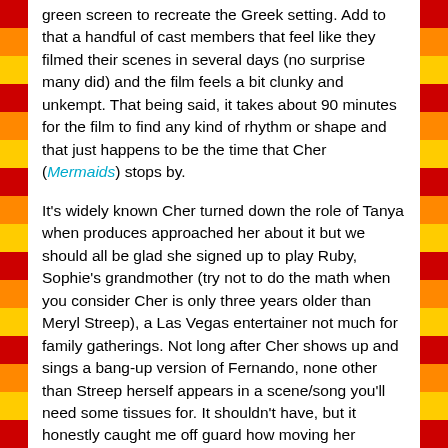green screen to recreate the Greek setting. Add to that a handful of cast members that feel like they filmed their scenes in several days (no surprise many did) and the film feels a bit clunky and unkempt. That being said, it takes about 90 minutes for the film to find any kind of rhythm or shape and that just happens to be the time that Cher (Mermaids) stops by.
It's widely known Cher turned down the role of Tanya when produces approached her about it but we should all be glad she signed up to play Ruby, Sophie's grandmother (try not to do the math when you consider Cher is only three years older than Meryl Streep), a Las Vegas entertainer not much for family gatherings. Not long after Cher shows up and sings a bang-up version of Fernando, none other than Streep herself appears in a scene/song you'll need some tissues for. It shouldn't have, but it honestly caught me off guard how moving her performance was and it serves as a wistful reminder of the below the surface heart the rest of the movie was missing.